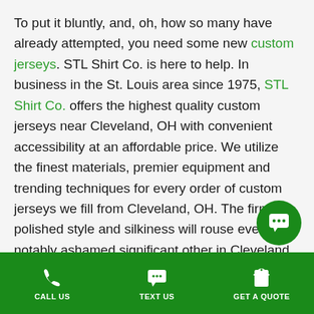To put it bluntly, and, oh, how so many have already attempted, you need some new custom jerseys. STL Shirt Co. is here to help. In business in the St. Louis area since 1975, STL Shirt Co. offers the highest quality custom jerseys near Cleveland, OH with convenient accessibility at an affordable price. We utilize the finest materials, premier equipment and trending techniques for every order of custom jerseys we fill from Cleveland, OH. The firm, polished style and silkiness will rouse even your notably ashamed significant other in Cleveland, OH.
STL Shirt Co. is a locally owned and operated union store using only the best American-made materials. We take great pride in providing fast turnaround times on all...
CALL US | TEXT US | GET A QUOTE